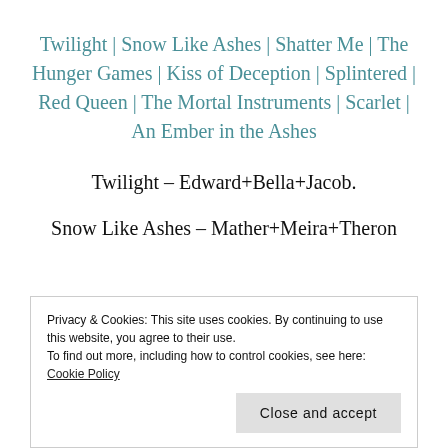Twilight | Snow Like Ashes | Shatter Me | The Hunger Games | Kiss of Deception | Splintered | Red Queen | The Mortal Instruments | Scarlet | An Ember in the Ashes
Twilight – Edward+Bella+Jacob.
Snow Like Ashes – Mather+Meira+Theron
Privacy & Cookies: This site uses cookies. By continuing to use this website, you agree to their use. To find out more, including how to control cookies, see here: Cookie Policy